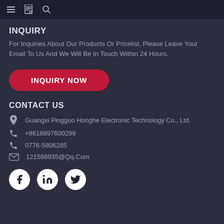Navigation bar with menu, document, and search icons
INQUIRY
For Inquiries About Our Products Or Pricelist, Please Leave Your Email To Us And We Will Be In Touch Within 24 Hours.
[Figure (other): Red rounded button with text INQUIRY NOW]
CONTACT US
Guangxi Pingguo Honghe Electronic Technology Co., Ltd.
+8618897600299
0776-5806285
121566935@Qq.Com
[Figure (other): Social media icons: Facebook, LinkedIn, Twitter in white circles]